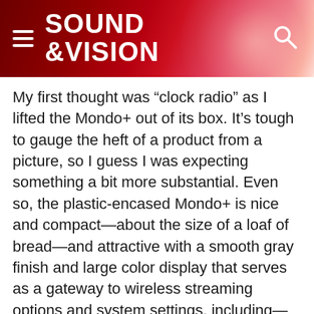SOUND &VISION
My first thought was “clock radio” as I lifted the Mondo+ out of its box. It’s tough to gauge the heft of a product from a picture, so I guess I was expecting something a bit more substantial. Even so, the plastic-encased Mondo+ is nice and compact—about the size of a loaf of bread—and attractive with a smooth gray finish and large color display that serves as a gateway to wireless streaming options and system settings, including—you guessed it—an alarm clock.
Curious to see how quickly I could get the Mondo+ up and running, I set it on my kitchen counter, loaded the supplied AAA batteries into the remote, and